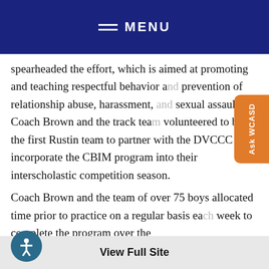MENU
spearheaded the effort, which is aimed at promoting and teaching respectful behavior and prevention of relationship abuse, harassment, sexual assault. Coach Brown and the track team volunteered to be the first Rustin team to partner with the DVCCC and incorporate the CBIM program into their interscholastic competition season.
Coach Brown and the team of over 75 boys allocated time prior to practice on a regular basis each week to complete the program over the
View Full Site